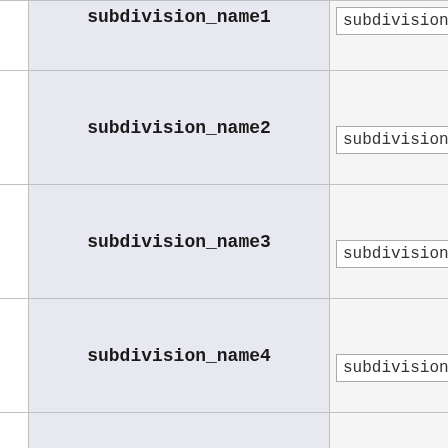|  | subdivision_name | subdivision_n |
| --- | --- | --- |
|  | subdivision_name1 | subdivision_n |
|  | subdivision_name2 | subdivision_n |
|  | subdivision_name3 | subdivision_n |
|  | subdivision_name4 | subdivision_n |
|  | subdivision_name5 | subdivision_n |